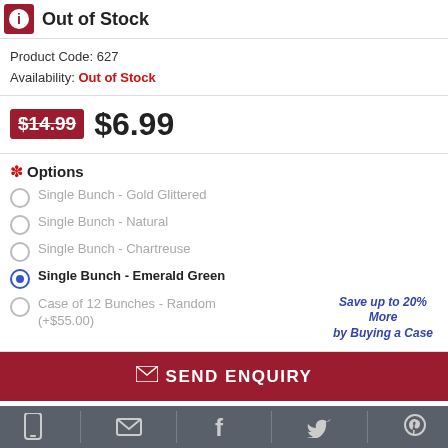Out of Stock
Product Code: 627
Availability: Out of Stock
$14.99  $6.99
* Options
Single Bunch - Gold Glittered
Single Bunch - Natural
Single Bunch - Chartreuse
Single Bunch - Emerald Green
Case of 12 Bunches - Random (+$55.00)
Save up to 20% More by Buying a Case
SEND ENQUIRY
Social/contact icons: mobile, email, facebook, twitter, pinterest